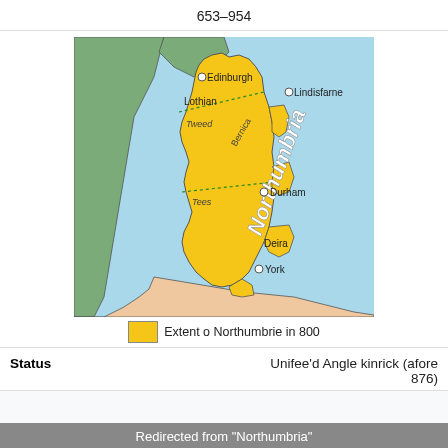653–954
[Figure (map): Map of Northumbria showing its extent around 800 AD, including regions of Bernicia and Deira, with cities Edinburgh, Lindisfarne, Durham, and York marked. Dotted lines show internal divisions along rivers Tweed and Tees. Surrounding regions shown in green, blue (sea), and peach colors.]
Extent o Northumbrie in 800
Status
Unifee'd Angle kinrick (afore 876)
Redirected from "Northumbria"